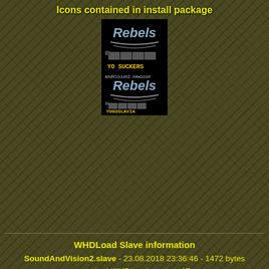Icons contained in install package
[Figure (screenshot): Two icons for the Sound & Vision 2 WHDLoad install package. Top icon shows 'Rebels' logo with 'YO SUCKERS' text and 'andVision2.newicon' label. Bottom icon shows 'Rebels' logo with 'YUGOSLAVIA' text.]
WHDLoad Slave information
SoundAndVision2.slave - 23.08.2018 23:36:46 - 1472 bytes
required WHDLoad version  17
flags  NoError EmulTrap ClearMem
required Chip Memory  512 KiB ($80000)
Expansion Memory  0 KiB
info name  Sound & Vision 2
info copy  1990 Rebels
info install  installed by